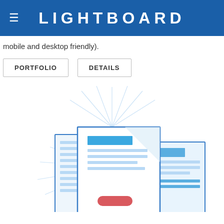LIGHTBOARD
mobile and desktop friendly).
PORTFOLIO
DETAILS
[Figure (illustration): Illustration of stacked documents/pages with blue outlines, light blue shading, a red button, and radiating lines suggesting a glowing or important document stack.]